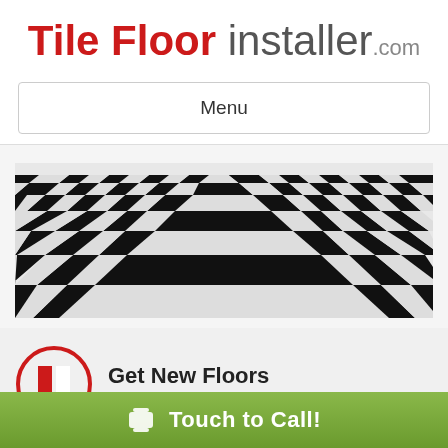Tile Floor installer .com
Menu
[Figure (illustration): Perspective view of a black and white checkered tile floor receding into the distance]
Get New Floors
End up with awesome looking tile flooring.
Touch to Call!